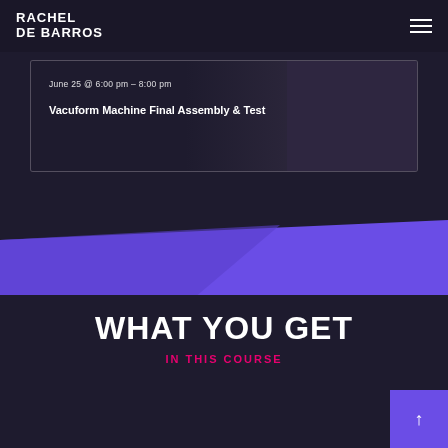RACHEL DE BARROS
June 25 @ 6:00 pm - 8:00 pm
Vacuform Machine Final Assembly & Test
[Figure (illustration): Decorative diagonal purple geometric shape divider between dark sections]
WHAT YOU GET
IN THIS COURSE